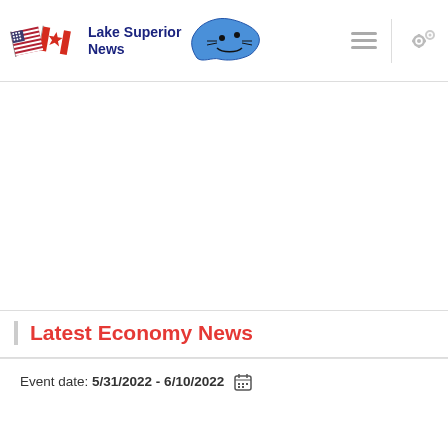Lake Superior News
Latest Economy News
Event date: 5/31/2022 - 6/10/2022